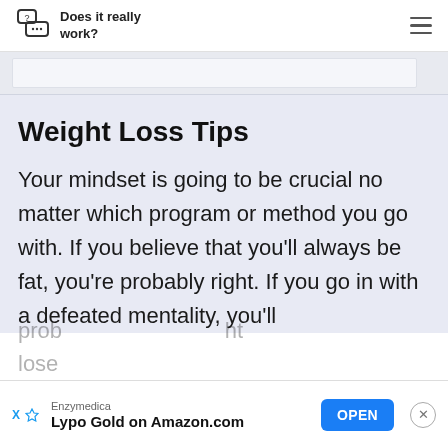Does it really work?
Weight Loss Tips
Your mindset is going to be crucial no matter which program or method you go with. If you believe that you'll always be fat, you're probably right. If you go in with a defeated mentality, you'll probably...
[Figure (screenshot): Advertisement banner: Enzymedica Lypo Gold on Amazon.com with OPEN button]